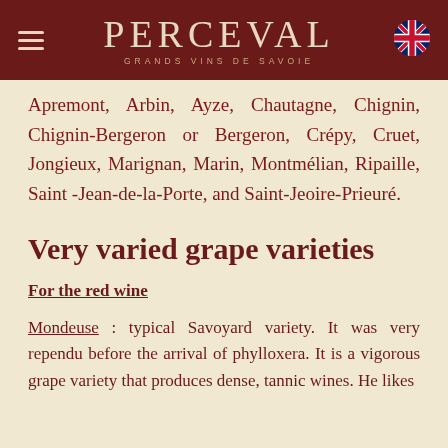PERCEVAL — GRANDS VINS DE SAVOIE
Apremont, Arbin, Ayze, Chautagne, Chignin, Chignin-Bergeron or Bergeron, Crépy, Cruet, Jongieux, Marignan, Marin, Montmélian, Ripaille, Saint -Jean-de-la-Porte, and Saint-Jeoire-Prieuré.
Very varied grape varieties
For the red wine
Mondeuse : typical Savoyard variety. It was very rependu before the arrival of phylloxera. It is a vigorous grape variety that produces dense, tannic wines. He likes